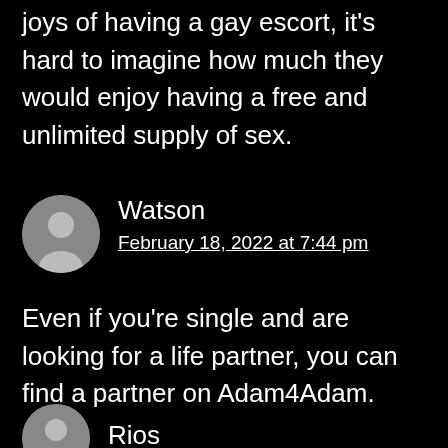joys of having a gay escort, it's hard to imagine how much they would enjoy having a free and unlimited supply of sex.
[Figure (illustration): User avatar for Watson - grey circle with silhouette icon]
Watson
February 18, 2022 at 7:44 pm
Even if you're single and are looking for a life partner, you can find a partner on Adam4Adam.
[Figure (illustration): User avatar for Rios - grey circle with silhouette icon]
Rios